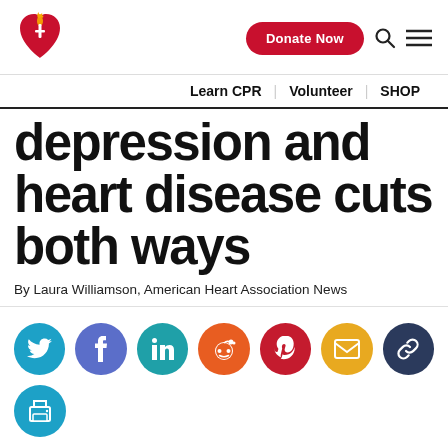American Heart Association | Donate Now
Learn CPR | Volunteer | SHOP
depression and heart disease cuts both ways
By Laura Williamson, American Heart Association News
[Figure (infographic): Social sharing icons: Twitter (cyan), Facebook (blue-purple), LinkedIn (teal), Reddit (orange), Pinterest (red), Email (yellow), Link (dark navy), Print (cyan)]